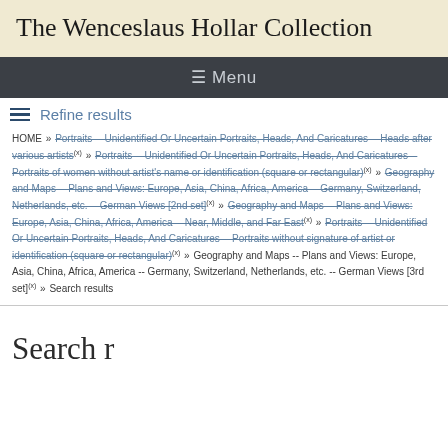The Wenceslaus Hollar Collection
☰ Menu
Refine results
HOME » Portraits -- Unidentified Or Uncertain Portraits, Heads, And Caricatures -- Heads after various artists(x) » Portraits -- Unidentified Or Uncertain Portraits, Heads, And Caricatures -- Portraits of women without artist's name or identification (square or rectangular)(x) » Geography and Maps -- Plans and Views: Europe, Asia, China, Africa, America -- Germany, Switzerland, Netherlands, etc. -- German Views [2nd set](x) » Geography and Maps -- Plans and Views: Europe, Asia, China, Africa, America -- Near, Middle, and Far East(x) » Portraits -- Unidentified Or Uncertain Portraits, Heads, And Caricatures -- Portraits without signature of artist or identification (square or rectangular)(x) » Geography and Maps -- Plans and Views: Europe, Asia, China, Africa, America -- Germany, Switzerland, Netherlands, etc. -- German Views [3rd set](x) » Search results
Search results (partial)